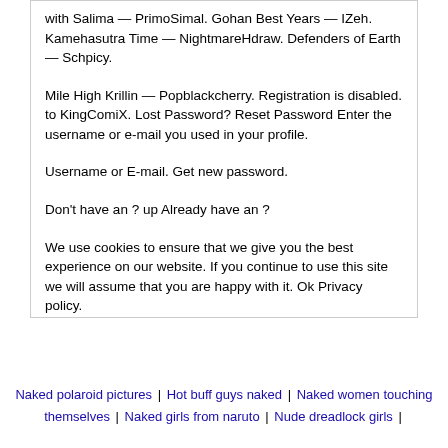with Salima — PrimoSimal. Gohan Best Years — IZeh. Kamehasutra Time — NightmareHdraw. Defenders of Earth — Schpicy.
Mile High Krillin — Popblackcherry. Registration is disabled. to KingComiX. Lost Password? Reset Password Enter the username or e-mail you used in your profile.
Username or E-mail. Get new password.
Don't have an ? up Already have an ?
We use cookies to ensure that we give you the best experience on our website. If you continue to use this site we will assume that you are happy with it. Ok Privacy policy.
Naked polaroid pictures | Hot buff guys naked | Naked women touching themselves | Naked girls from naruto | Nude dreadlock girls |